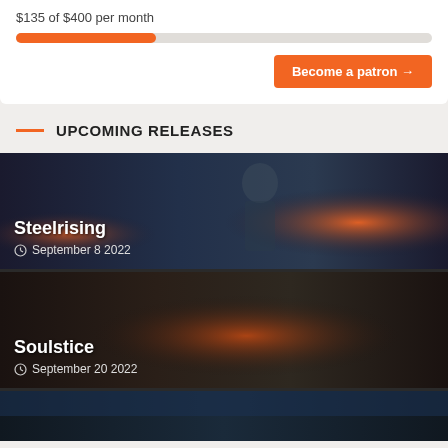$135 of $400 per month
[Figure (infographic): Orange progress bar showing $135 of $400 filled (approx 34%)]
Become a patron →
UPCOMING RELEASES
[Figure (photo): Dark fantasy game screenshot showing a female warrior character with fires in background - Steelrising]
Steelrising
September 8 2022
[Figure (photo): Dark action game screenshot showing armored warriors in battle - Soulstice]
Soulstice
September 20 2022
[Figure (photo): Partial dark game screenshot at bottom of page]